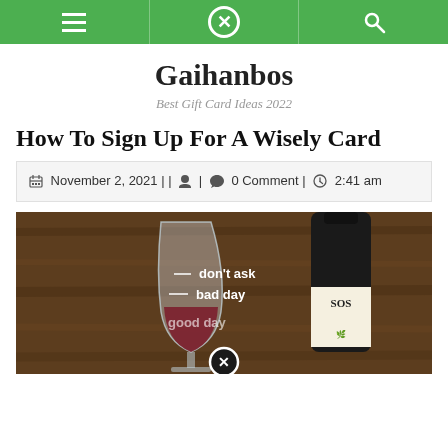Gaihanbos — navigation bar with menu, close, and search icons
Gaihanbos
Best Gift Card Ideas 2022
How To Sign Up For A Wisely Card
November 2, 2021 | | [user icon] | [comment icon] 0 Comment | [clock icon] 2:41 am
[Figure (photo): A wine glass with humorous fill-level labels: 'don't ask', 'bad day', 'good day', filled with red wine, next to a bottle of SOSI wine on a wooden table background.]